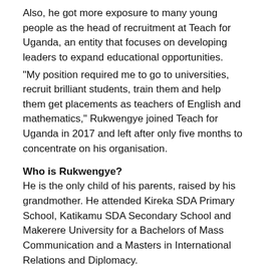Also, he got more exposure to many young people as the head of recruitment at Teach for Uganda, an entity that focuses on developing leaders to expand educational opportunities.
“My position required me to go to universities, recruit brilliant students, train them and help them get placements as teachers of English and mathematics,” Rukwengye joined Teach for Uganda in 2017 and left after only five months to concentrate on his organisation.
Who is Rukwengye?
He is the only child of his parents, raised by his grandmother. He attended Kireka SDA Primary School, Katikamu SDA Secondary School and Makerere University for a Bachelors of Mass Communication and a Masters in International Relations and Diplomacy.